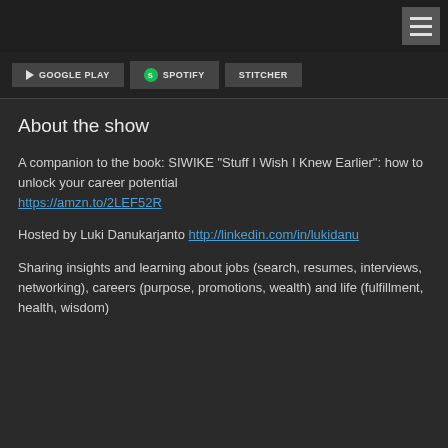☰ menu icon
GOOGLE PLAY   SPOTIFY   STITCHER
About the show
A companion to the book: SIWIKE "Stuff I Wish I Knew Earlier": how to unlock your career potential https://amzn.to/2LEF52R
Hosted by Luki Danukarjanto http://linkedin.com/in/lukidanu
Sharing insights and learning about jobs (search, resumes, interviews, networking), careers (purpose, promotions, wealth) and life (fulfillment, health, wisdom)